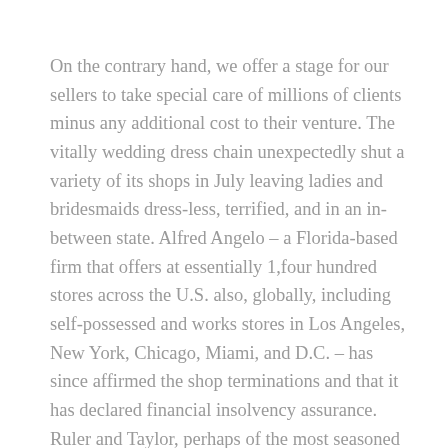On the contrary hand, we offer a stage for our sellers to take special care of millions of clients minus any additional cost to their venture. The vitally wedding dress chain unexpectedly shut a variety of its shops in July leaving ladies and bridesmaids dress-less, terrified, and in an in-between state. Alfred Angelo – a Florida-based firm that offers at essentially 1,four hundred stores across the U.S. also, globally, including self-possessed and works stores in Los Angeles, New York, Chicago, Miami, and D.C. – has since affirmed the shop terminations and that it has declared financial insolvency assurance. Ruler and Taylor, perhaps of the most seasoned retail chains in the U.S., petitioned for financial protection wellbeing